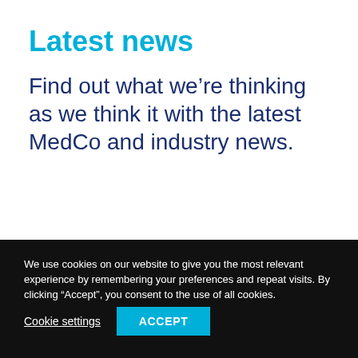Latest news
Find out what we're thinking as we think it with the latest MedCo and industry news.
We use cookies on our website to give you the most relevant experience by remembering your preferences and repeat visits. By clicking “Accept”, you consent to the use of all cookies.
Cookie settings
ACCEPT